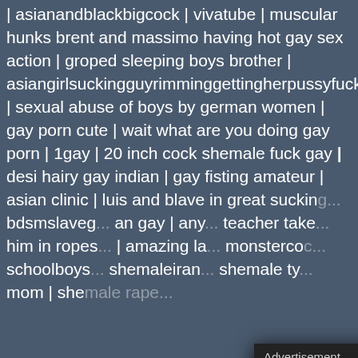| asianandblackbigcock | vivatube | muscular hunks brent and massimo having hot gay sex action | groped sleeping boys brother | asiangirlsuckingguyrimminggettingherpussyfuckedonthe | sexual abuse of boys by german women | gay porn cute | wait what are you doing gay porn | 1gay | 20 inch cock shemale fuck gay | desi hairy gay indian | gay fisting amateur | asian clinic | luis and blave in great sucking... | bdsmslaveg... an gay | any... teacher take... him in ropes... | amazing la... monsterco... schoolboys... shemaleiran... shemale ty... mom | she...
[Figure (screenshot): Advertisement popup overlay with header bar saying 'Advertisement' and a close X button in red. The ad body has a pink/magenta gradient background with Instagram text in cursive white, 'FOR SEX' in bold black text with underline, a circular profile image showing two men, an Instagram icon, and 'CLICK HERE' text at the bottom.]